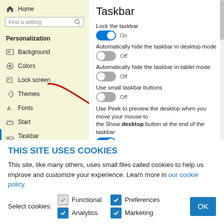[Figure (screenshot): Windows 10 Settings screenshot showing Taskbar personalization settings panel. Left sidebar shows navigation menu with Home, search box, Personalization section including Background, Colors, Lock screen, Themes, Fonts, Start, and Taskbar (active). Right panel shows Taskbar settings with toggle switches for: Lock the taskbar (On), Automatically hide the taskbar in desktop mode (Off), Automatically hide the taskbar in tablet mode (Off), Use small taskbar buttons (Off, with red arrow pointing to it), Use Peek to preview the desktop when you move your mouse to the Show desktop button at the end of the taskbar (On), Replace Command Prompt with Windows PowerShell in the menu when I right-click the start button or press Windows key+X (On), Show badges on taskbar buttons (On, partially visible).]
THIS SITE USES COOKIES
This site, like many others, uses small files called cookies to help us improve and customize your experience. Learn more in our cookie policy.
Select cookies: Functional Preferences Analytics Marketing OK